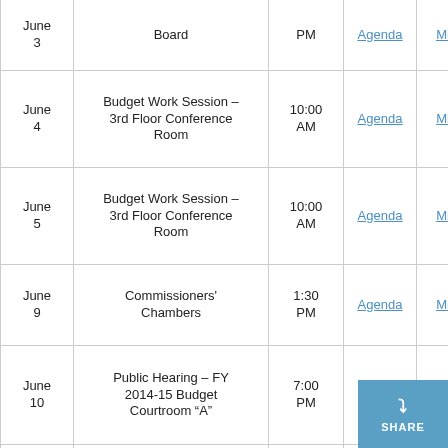| Date | Event/Location | Time | Agenda | Minutes |
| --- | --- | --- | --- | --- |
| June 3 | [Sharris/etc - Planning Board] | PM | Agenda | Minutes |
| June 4 | Budget Work Session - 3rd Floor Conference Room | 10:00 AM | Agenda | Minutes |
| June 5 | Budget Work Session - 3rd Floor Conference Room | 10:00 AM | Agenda | Minutes |
| June 9 | Commissioners' Chambers | 1:30 PM | Agenda | Minutes |
| June 10 | Public Hearing - FY 2014-15 Budget Courtroom “A” | 7:00 PM |  | Minutes |
| June 11 | Budget Work Session - 3rd Floor Conference Room | 10:00 AM | Agenda | Minutes |
|  | Budget Work Session - |  |  |  |